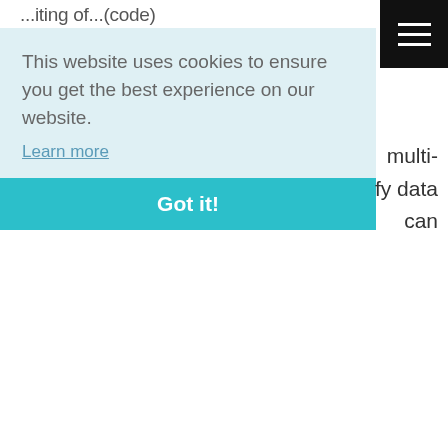...iting of... (code)
[Figure (screenshot): Hamburger menu icon (three horizontal white lines on black background)]
multi-
fy data
can
This website uses cookies to ensure you get the best experience on our website.
Learn more
Got it!
Among other scanning features, Purview got a support for resource set pattern rules. A resource set is a logical view of a
[Figure (logo): Become a Data Engineer logo with blue arrow icon and blue button]
You want to learn data engineering but have no idea where and how to start in this wide domain? Check Become a Data Engineer course, it can help you 🙂
➡ Join the class!